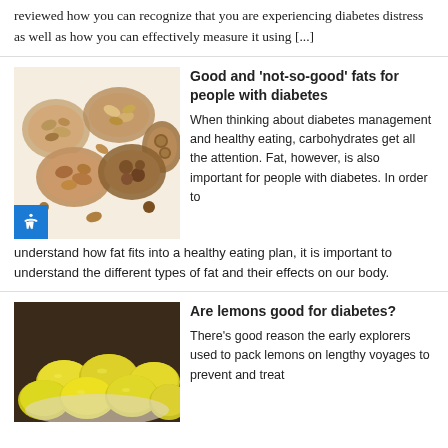reviewed how you can recognize that you are experiencing diabetes distress as well as how you can effectively measure it using [...]
[Figure (photo): Overhead photo of multiple bowls filled with assorted nuts including almonds, walnuts, peanuts, cashews, and other mixed nuts on a white background.]
Good and ‘not-so-good’ fats for people with diabetes
When thinking about diabetes management and healthy eating, carbohydrates get all the attention. Fat, however, is also important for people with diabetes. In order to understand how fat fits into a healthy eating plan, it is important to understand the different types of fat and their effects on our body.
[Figure (photo): Close-up photo of yellow lemons in a bowl or basket.]
Are lemons good for diabetes?
There’s good reason the early explorers used to pack lemons on lengthy voyages to prevent and treat